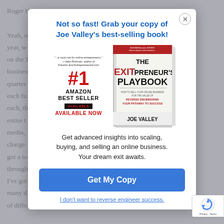Roger H... Yeah, su... e third year, w... hange on the T... ing the business... we do quarter... es in each fu... they'll each, th... o the entire t... d media, ... I'm in charge... I've got a to... ls through... calls, I've got... many c... of diffo...
Not so fast! Grab your copy of Joe Valley's best-selling book!
[Figure (illustration): Book advertisement showing #1 Amazon Best Seller badge on the left with red #1 text, 'AMAZON BEST SELLER', 'AVAILABLE NOW' text, and a book cover on the right titled 'THE EXITPRENEUR'S PLAYBOOK' by Joe Valley with subtitle 'HOW TO SELL YOUR ONLINE BUSINESS FOR THE VALUE OF REVERSE ENGINEERING YOUR PATHWAY TO SUCCESS']
Get advanced insights into scaling, buying, and selling an online business. Your dream exit awaits.
Get My Copy
I don't want to reverse engineer success.